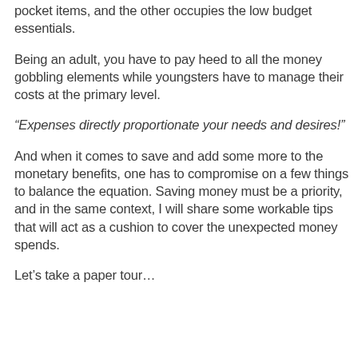pocket items, and the other occupies the low budget essentials.
Being an adult, you have to pay heed to all the money gobbling elements while youngsters have to manage their costs at the primary level.
“Expenses directly proportionate your needs and desires!”
And when it comes to save and add some more to the monetary benefits, one has to compromise on a few things to balance the equation. Saving money must be a priority, and in the same context, I will share some workable tips that will act as a cushion to cover the unexpected money spends.
Let’s take a paper tour…